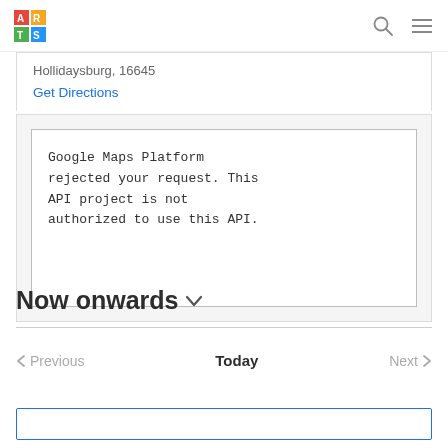ARTS logo, search icon, menu icon
Hollidaysburg, 16648
Get Directions
[Figure (screenshot): Google Maps error box with monospace text: 'Google Maps Platform rejected your request. This API project is not authorized to use this API.']
Now onwards
Previous  Today  Next